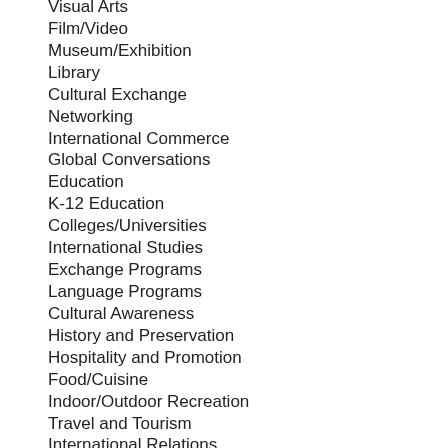Visual Arts
Film/Video
Museum/Exhibition
Library
Cultural Exchange
Networking
International Commerce
Global Conversations
Education
K-12 Education
Colleges/Universities
International Studies
Exchange Programs
Language Programs
Cultural Awareness
History and Preservation
Hospitality and Promotion
Food/Cuisine
Indoor/Outdoor Recreation
Travel and Tourism
International Relations
International Development
Law/International Law
Women / Gender
Humanitarian Assistance/Foreign Aid